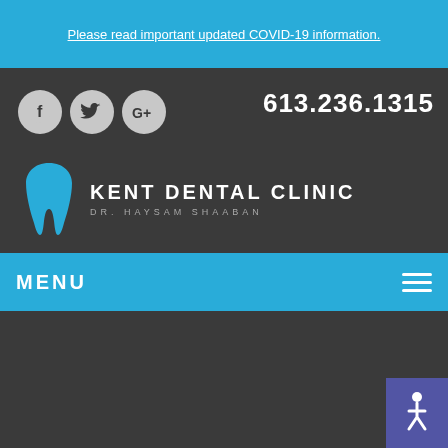Please read important updated COVID-19 information.
[Figure (logo): Kent Dental Clinic logo with tooth icon and social media icons (Facebook, Twitter, Google+), phone number 613.236.1315, clinic name KENT DENTAL CLINIC, DR. HAYSAM SHAABAN]
MENU
[Figure (infographic): Dark bottom section with accessibility wheelchair icon in purple box at bottom right]